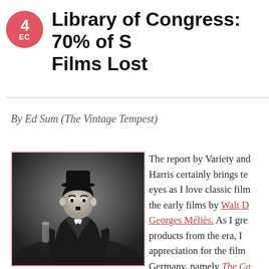4 DEC
Library of Congress: 70% of S... Films Lost
By Ed Sum (The Vintage Tempest)
[Figure (photo): Black and white photo of Charlie Chaplin in his iconic Tramp costume, standing in a formal pose]
The report by Variety and Harris certainly brings te... eyes as I love classic film... the early films by Walt D... Georges Méliès. As I gre... products from the era, I... appreciation for the film... Germany, namely The Ca... Caligari and Metropolis...